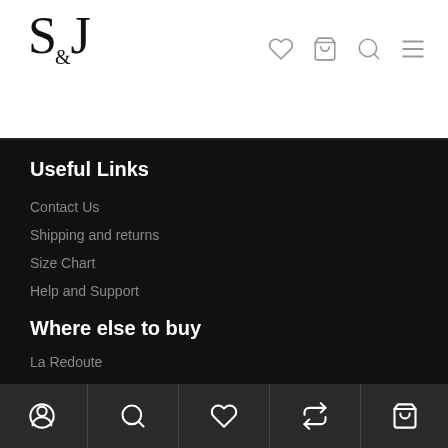S&J logo with navigation icons (heart, bag, search, menu)
Useful Links
Contact Us
Shipping and returns
Size Chart
Help and Support
Where else to buy
La Redoute
Bottom navigation bar with icons: profile, search, heart, repeat, bag